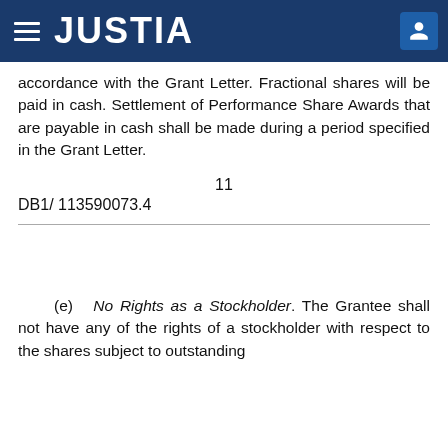JUSTIA
accordance with the Grant Letter. Fractional shares will be paid in cash. Settlement of Performance Share Awards that are payable in cash shall be made during a period specified in the Grant Letter.
11
DB1/ 113590073.4
(e) No Rights as a Stockholder. The Grantee shall not have any of the rights of a stockholder with respect to the shares subject to outstanding